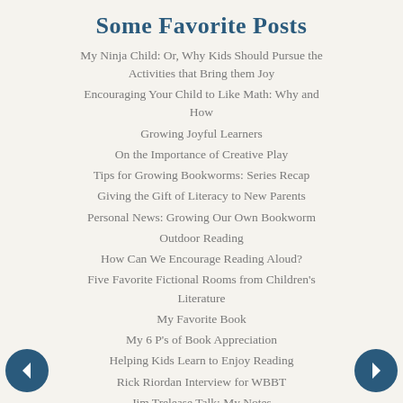Some Favorite Posts
My Ninja Child: Or, Why Kids Should Pursue the Activities that Bring them Joy
Encouraging Your Child to Like Math: Why and How
Growing Joyful Learners
On the Importance of Creative Play
Tips for Growing Bookworms: Series Recap
Giving the Gift of Literacy to New Parents
Personal News: Growing Our Own Bookworm
Outdoor Reading
How Can We Encourage Reading Aloud?
Five Favorite Fictional Rooms from Children's Literature
My Favorite Book
My 6 P's of Book Appreciation
Helping Kids Learn to Enjoy Reading
Rick Riordan Interview for WBBT
Jim Trelease Talk: My Notes